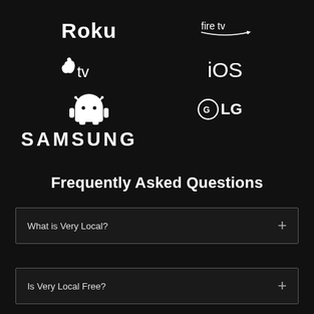[Figure (logo): Platform logos: Roku, Fire TV, Apple TV, iOS, Android, LG, Samsung on black background]
Frequently Asked Questions
What is Very Local?
Is Very Local Free?